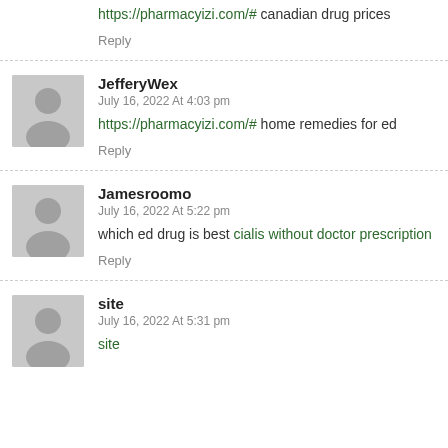https://pharmacyizi.com/# canadian drug prices
Reply
JefferyWex
July 16, 2022 At 4:03 pm
https://pharmacyizi.com/# home remedies for ed
Reply
Jamesroomo
July 16, 2022 At 5:22 pm
which ed drug is best cialis without doctor prescription
Reply
site
July 16, 2022 At 5:31 pm
site